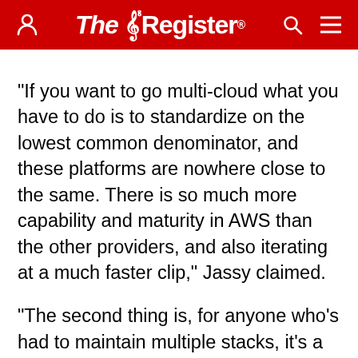The Register
"If you want to go multi-cloud what you have to do is to standardize on the lowest common denominator, and these platforms are nowhere close to the same. There is so much more capability and maturity in AWS than the other providers, and also iterating at a much faster clip," Jassy claimed.
"The second thing is, for anyone who's had to maintain multiple stacks, it's a pain in the butt. It's hard, it's resource intensive, it's costly, and development teams hate it.